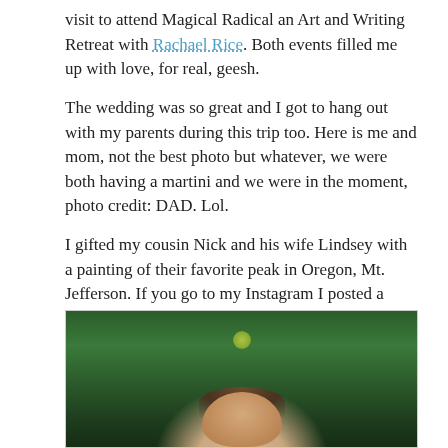visit to attend Magical Radical an Art and Writing Retreat with Rachael Rice. Both events filled me up with love, for real, geesh.
The wedding was so great and I got to hang out with my parents during this trip too. Here is me and mom, not the best photo but whatever, we were both having a martini and we were in the moment, photo credit: DAD. Lol.
I gifted my cousin Nick and his wife Lindsey with a painting of their favorite peak in Oregon, Mt. Jefferson. If you go to my Instagram I posted a video of their reaction (just scroll down a bit): https://www.instagram.com/rebeccamaloneyart/. I love them both so much. Congrats you two!
[Figure (photo): A photo showing two people partially visible, with lush green foliage/trees in the background. The lower portion of a person's face and hair is visible at the bottom center of the image.]